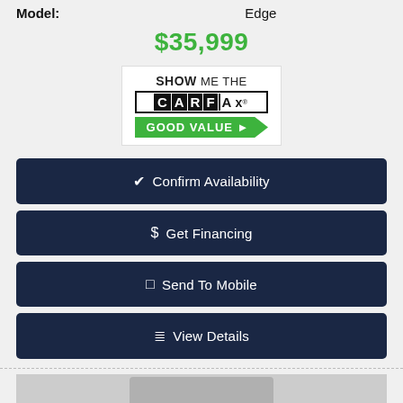Model: Edge
$35,999
[Figure (logo): CARFAX Show Me The CARFAX - Good Value badge]
Confirm Availability
$ Get Financing
Send To Mobile
View Details
[Figure (photo): Partial vehicle photo at bottom of page]